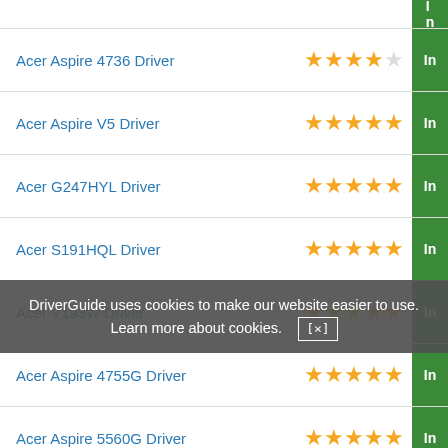Acer Aspire 4736 Driver, 4 stars
Acer Aspire V5 Driver, 5 stars
Acer G247HYL Driver, 5 stars
Acer S191HQL Driver, 5 stars
Acer V193W Driver, 5 stars
Acer Aspire 4755G Driver, 5 stars
Acer Aspire 5560G Driver, 5 stars
Acer Aspire 7735G Driver, 5 stars
Acer Aspire S3-371 Driver, 5 stars
DriverGuide uses cookies to make our website easier to use. Learn more about cookies. [x]